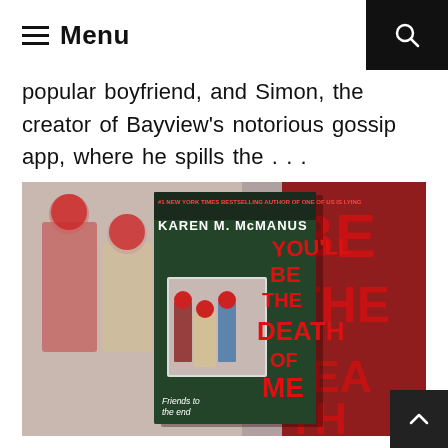≡ Menu
popular boyfriend, and Simon, the creator of Bayview's notorious gossip app, where he spills the . . .
[Figure (photo): Book cover of 'You'll Be the Death of Me' by Karen M. McManus, showing three teenagers with blurred/red-circle faces. The book cover displays the title in dripping red text. Background shows a blurred scene with the same characters and large red letters spelling 'BE THE DEATH'.]